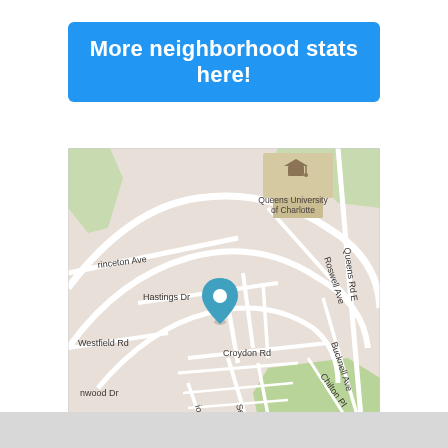More neighborhood stats here!
[Figure (map): Mapbox street map centered on a neighborhood in Charlotte, NC near Queens University of Charlotte. Shows streets including Princeton Ave, Hastings Dr, Croydon Rd, Westfield Rd, Roswell Ave, Queens Rd E, Bucknell Ave, Chilton Pl, Selwyn Ave, with a teal location pin marker in the center. Green parks visible in lower right. Mapbox attribution in lower left.]